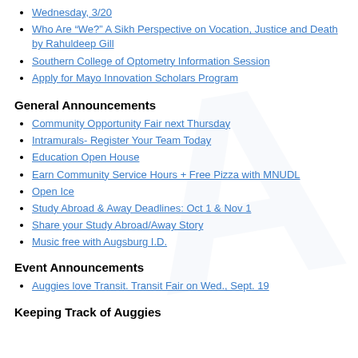Wednesday, 3/20
Who Are “We?” A Sikh Perspective on Vocation, Justice and Death by Rahuldeep Gill
Southern College of Optometry Information Session
Apply for Mayo Innovation Scholars Program
General Announcements
Community Opportunity Fair next Thursday
Intramurals- Register Your Team Today
Education Open House
Earn Community Service Hours + Free Pizza with MNUDL
Open Ice
Study Abroad & Away Deadlines: Oct 1 & Nov 1
Share your Study Abroad/Away Story
Music free with Augsburg I.D.
Event Announcements
Auggies love Transit. Transit Fair on Wed., Sept. 19
Keeping Track of Auggies